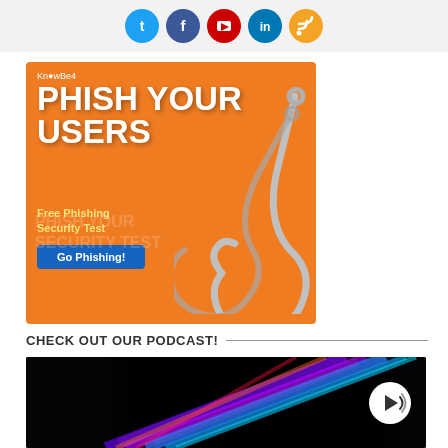[Figure (other): Social media icons: Twitter, Facebook, YouTube, LinkedIn, RSS in circular colored buttons on a light gray bar]
[Figure (illustration): KnowBe4 advertisement banner with orange background. Text reads: KnowBe4, PHISH YOUR USERS, Free Phishing Security Test, Go Phishing! button. Features a metallic fishing hook graphic.]
CHECK OUT OUR PODCAST!
[Figure (photo): Dark podcast thumbnail image with colorful light streaks (neon cables/fiber optic) and a white circular play button icon with arrow and sound waves.]